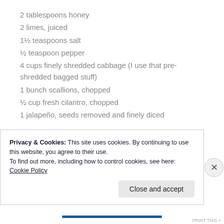2 tablespoons honey
2 limes, juiced
1½ teaspoons salt
½ teaspoon pepper
4 cups finely shredded cabbage (I use that pre-shredded bagged stuff)
1 bunch scallions, chopped
½ cup fresh cilantro, chopped
1 jalapeño, seeds removed and finely diced
In the bottom of a large bowl, whisk together the oil, vinegar, honey, lime juice, salt, and pepper. Add the cabbage, onion, cilantro, and jalapeño. Toss
Privacy & Cookies: This site uses cookies. By continuing to use this website, you agree to their use.
To find out more, including how to control cookies, see here: Cookie Policy
Close and accept